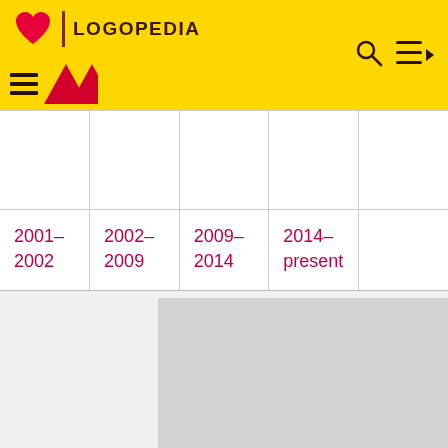LOGOPEDIA
|  |  |  |  |  |
| --- | --- | --- | --- | --- |
|  |  |  |  |  |
| 2001–2002 | 2002–2009 | 2009–2014 | 2014–present |  |
[Figure (other): Gray placeholder image/box below the table]